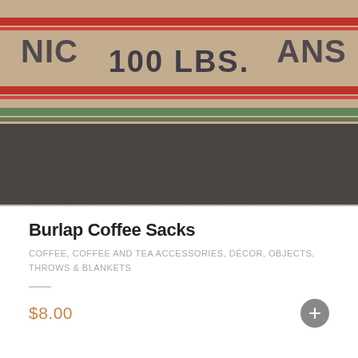[Figure (photo): Close-up photo of burlap coffee sacks. The top portion shows a natural tan/beige burlap sack with red stripe trim and dark text reading '100 LBS.' The bottom portion shows a dark charcoal/grey woven burlap texture.]
Burlap Coffee Sacks
COFFEE, COFFEE AND TEA ACCESSORIES, DÉCOR, OBJECTS, THROWS & BLANKETS
$8.00